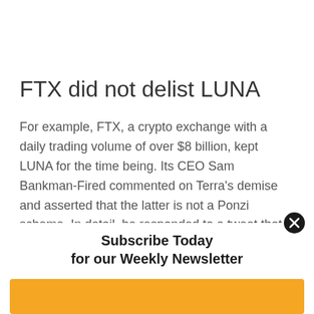FTX did not delist LUNA
For example, FTX, a crypto exchange with a daily trading volume of over $8 billion, kept LUNA for the time being. Its CEO Sam Bankman-Fired commented on Terra's demise and asserted that the latter is not a Ponzi scheme. In detail, he responded to a tweet that compared Terra's Do Kwon to Elizabeth Holmes, a biotechnology entrepreneur with a
Subscribe Today
for our Weekly Newsletter
Email Address *